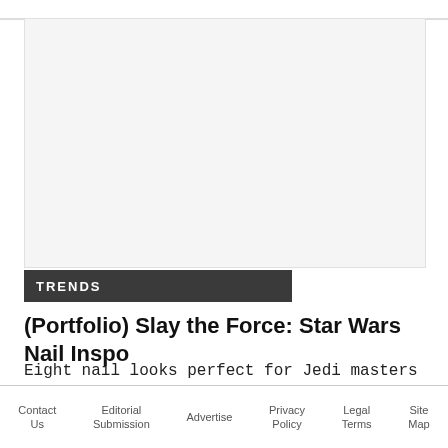[Figure (photo): Large image placeholder – article hero image for Star Wars Nail Inspo article]
TRENDS
(Portfolio) Slay the Force: Star Wars Nail Inspo
Eight nail looks perfect for Jedi masters or those taking a walk on the dark side.
Contact Us   Editorial Submission   Advertise   Privacy Policy   Legal Terms   Site Map